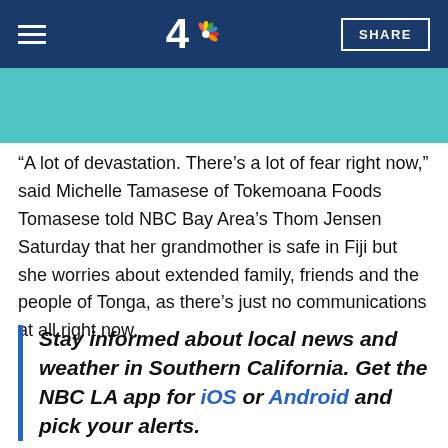NBC LA — Navigation bar with hamburger menu, NBC 4 logo, and SHARE button
[Figure (other): Teal/turquoise colored image banner area]
“A lot of devastation. There’s a lot of fear right now,” said Michelle Tamasese of Tokemoana Foods Tomasese told NBC Bay Area’s Thom Jensen Saturday that her grandmother is safe in Fiji but she worries about extended family, friends and the people of Tonga, as there’s just no communications at all right now.
Stay informed about local news and weather in Southern California. Get the NBC LA app for iOS or Android and pick your alerts.